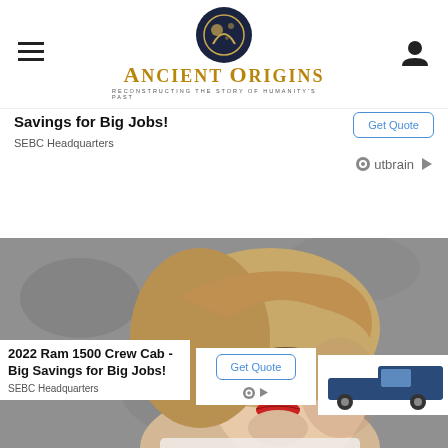Ancient Origins — Reconstructing the story of humanity's past
Savings for Big Jobs!
SEBC Headquarters
Outbrain
[Figure (photo): Portrait photo of a blonde woman looking upward against a grey background]
2022 Ram 1500 Crew Cab - Big Savings for Big Jobs!
SEBC Headquarters